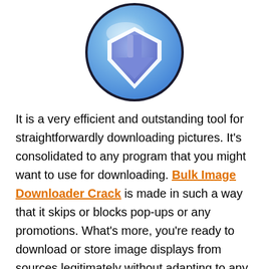[Figure (logo): Circular blue download icon with a downward-pointing arrow inside a white shield-like shape, on a blue gradient circle with dark outline]
It is a very efficient and outstanding tool for straightforwardly downloading pictures. It's consolidated to any program that you might want to use for downloading. Bulk Image Downloader Crack is made in such a way that it skips or blocks pop-ups or any promotions. What's more, you're ready to download or store image displays from sources legitimately without adapting to any troublesome difficulties. It works with a more significant part of the broadly utilized destinations for pictures and is very adaptable.